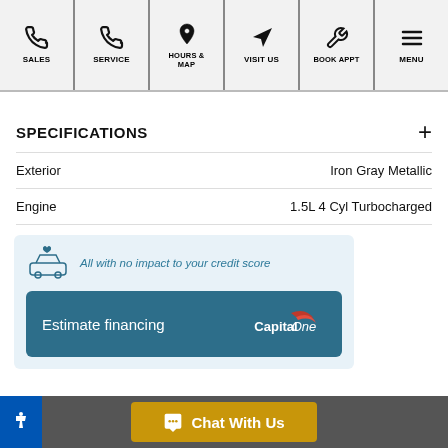SALES | SERVICE | HOURS & MAP | VISIT US | BOOK APPT | MENU
SPECIFICATIONS
| Attribute | Value |
| --- | --- |
| Exterior | Iron Gray Metallic |
| Engine | 1.5L 4 Cyl Turbocharged |
[Figure (infographic): Capital One financing card: 'All with no impact to your credit score' with car icon, and an 'Estimate financing' button with Capital One logo]
Chat With Us